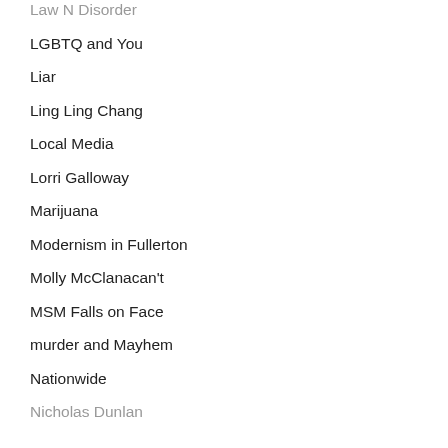Law N Disorder
LGBTQ and You
Liar
Ling Ling Chang
Local Media
Lorri Galloway
Marijuana
Modernism in Fullerton
Molly McClanacan't
MSM Falls on Face
murder and Mayhem
Nationwide
Nicholas Dunlan